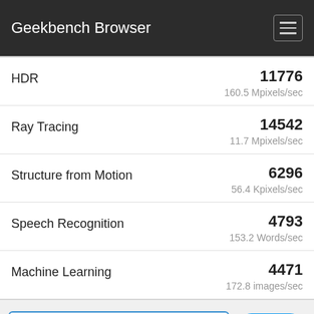Geekbench Browser
| Benchmark | Score | Unit |
| --- | --- | --- |
| HDR | 11776 | 160.5 Mpixels/sec |
| Ray Tracing | 14542 | 11.7 Mpixels/sec |
| Structure from Motion | 6296 | 56.4 Kpixels/sec |
| Speech Recognition | 4793 | 153.2 Words/sec |
| Machine Learning | 4471 | 172.8 images/sec |
Set Baseline
Tweet